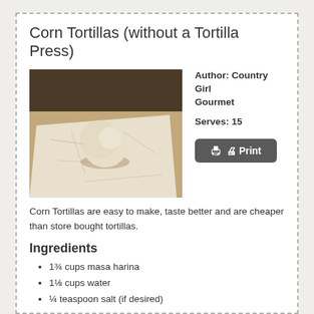Corn Tortillas (without a Tortilla Press)
[Figure (photo): Photo of a ball of masa dough on a piece of white parchment paper, with a dark background]
Author: Country Girl Gourmet
Serves: 15
Corn Tortillas are easy to make, taste better and are cheaper than store bought tortillas.
Ingredients
1¾ cups masa harina
1⅛ cups water
¼ teaspoon salt (if desired)
Instructions
1. In a medium bowl, mix together masa harina and hot water